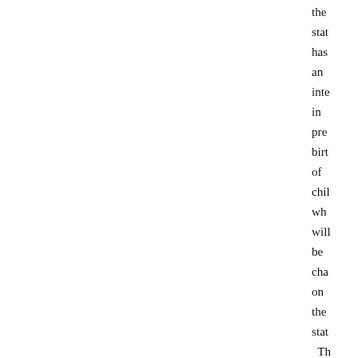the state has an interest in preventing birth of children who will be charged on the state. This was no heightened scrutiny for in